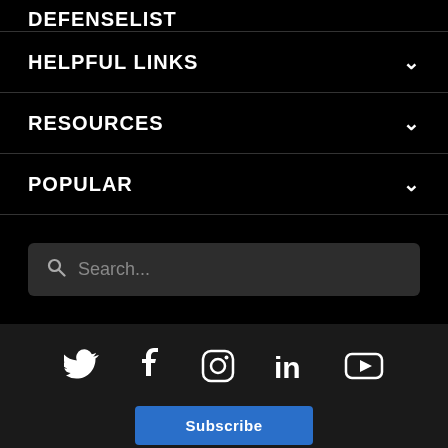HELPFUL LINKS
RESOURCES
POPULAR
Search...
[Figure (infographic): Social media icons row: Twitter, Facebook, Instagram, LinkedIn, YouTube]
Subscribe